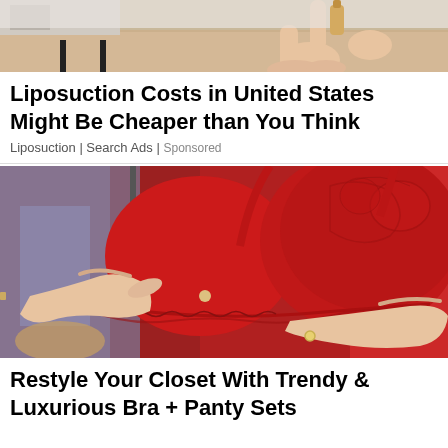[Figure (photo): Top portion of a person doing stretching or exercise on a light wood floor, partial view of legs and body]
Liposuction Costs in United States Might Be Cheaper than You Think
Liposuction | Search Ads | Sponsored
[Figure (photo): Hands holding up a red lace bra against a background of hanging clothing items]
Restyle Your Closet With Trendy & Luxurious Bra + Panty Sets